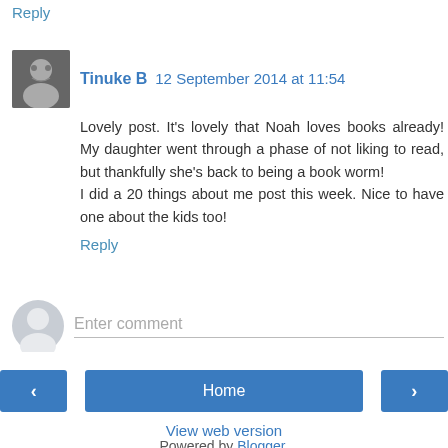Reply
Tinuke B  12 September 2014 at 11:54
Lovely post. It's lovely that Noah loves books already! My daughter went through a phase of not liking to read, but thankfully she's back to being a book worm!
I did a 20 things about me post this week. Nice to have one about the kids too!
Reply
Enter comment
Home
View web version
Powered by Blogger.